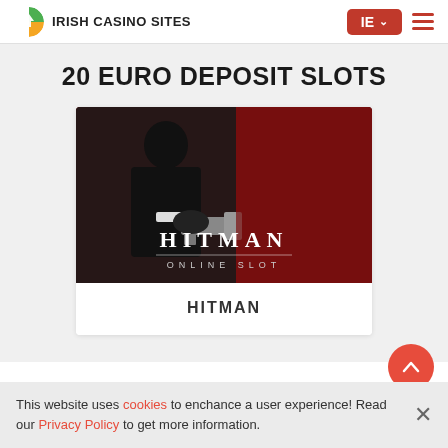IRISH CASINO SITES | IE
20 EURO DEPOSIT SLOTS
[Figure (screenshot): Hitman online slot game promotional image showing a figure in a black suit holding a gun against a red background, with 'HITMAN ONLINE SLOT' text overlay]
HITMAN
This website uses cookies to enchance a user experience! Read our Privacy Policy to get more information.